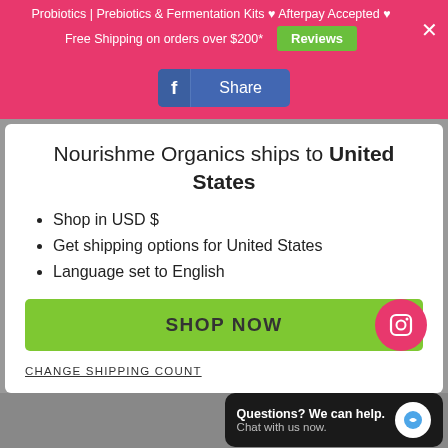Probiotics | Prebiotics & Fermentation Kits ♥ Afterpay Accepted ♥
Free Shipping on orders over $200*
Reviews
[Figure (other): Facebook Share button]
Nourishme Organics ships to United States
Shop in USD $
Get shipping options for United States
Language set to English
SHOP NOW
CHANGE SHIPPING COUNT...
Questions? We can help. Chat with us now.